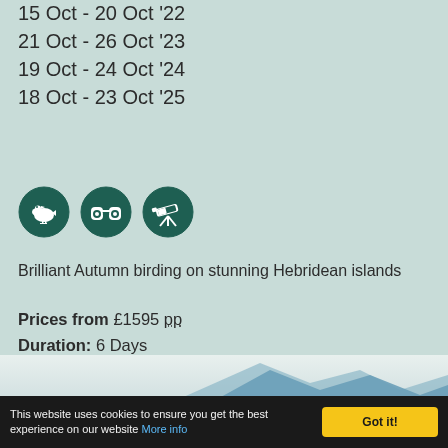15 Oct - 20 Oct '22
21 Oct - 26 Oct '23
19 Oct - 24 Oct '24
18 Oct - 23 Oct '25
[Figure (illustration): Three circular dark green icons: a bird silhouette, binoculars, and a telescope on tripod]
Brilliant Autumn birding on stunning Hebridean islands
Prices from £1595 pp
Duration: 6 Days
Details
[Figure (photo): Mountain silhouette against sky at the bottom of the card]
This website uses cookies to ensure you get the best experience on our website More info
Got it!